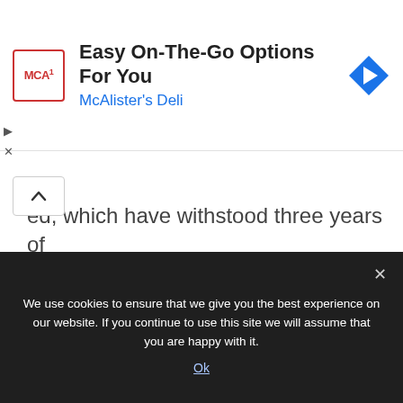[Figure (other): McAlister's Deli advertisement banner with logo, text 'Easy On-The-Go Options For You' and 'McAlister's Deli', and a blue diamond navigation icon]
ed, which have withstood three years of weathering. When purchased in 1999, Anne Allen had a Perkins 4236 engine, but Terry wanted to replace it. Brought from Morison Watson was an old HW3M 36bhp Lister engine, which had been fitted in her. It was completely seized and had been under water at some time, but was a nice compromise between the original six-cylinder 35bhp Weyburn AE6 RNLI
We use cookies to ensure that we give you the best experience on our website. If you continue to use this site we will assume that you are happy with it.
Ok